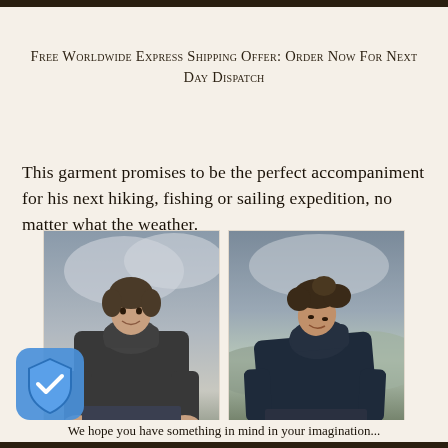Free Worldwide Express Shipping Offer: Order Now For Next Day Dispatch
This garment promises to be the perfect accompaniment for his next hiking, fishing or sailing expedition, no matter what the weather.
[Figure (photo): Two side-by-side photos of a man wearing a dark cable-knit turtleneck sweater outdoors near a coastal/scenic background. Left photo: man standing upright, smiling at camera. Right photo: man looking down, slightly hunched.]
We hope you have something in mind in your imagination...